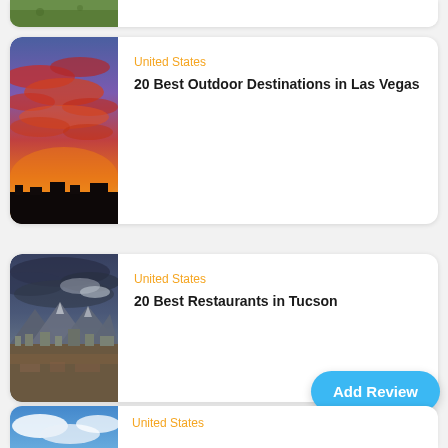[Figure (photo): Partial top card showing a green field/park scene, cropped]
[Figure (photo): Vibrant sunset sky with red and orange clouds over a city skyline — Las Vegas card]
United States
20 Best Outdoor Destinations in Las Vegas
[Figure (photo): Mountain range with city below under dramatic sky — Tucson card]
United States
20 Best Restaurants in Tucson
Add Review
[Figure (photo): Blue sky with clouds — partial bottom card]
United States